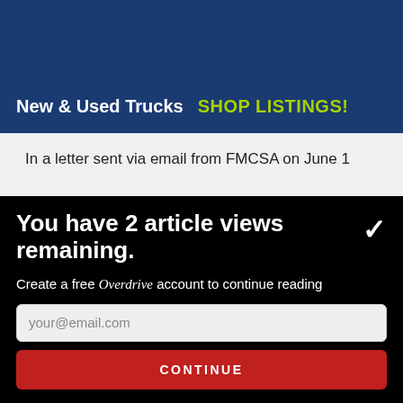[Figure (illustration): Advertisement banner with dark blue background showing text 'New & Used Trucks' in white and 'SHOP LISTINGS!' in yellow-green]
In a letter sent via email from FMCSA on June 1
You have 2 article views remaining.
Create a free Overdrive account to continue reading
your@email.com
CONTINUE